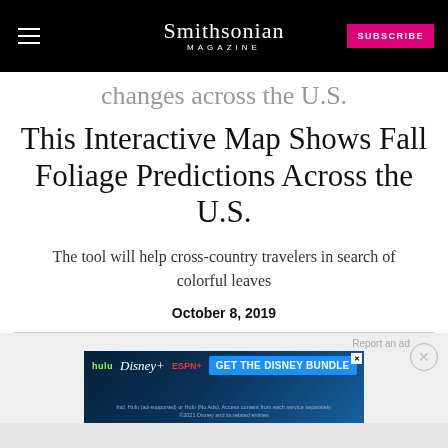Smithsonian MAGAZINE
changes across the U.S.
This Interactive Map Shows Fall Foliage Predictions Across the U.S.
The tool will help cross-country travelers in search of colorful leaves
October 8, 2019
[Figure (infographic): Advertisement banner for Disney Bundle featuring Hulu, Disney+, and ESPN+ with 'GET THE DISNEY BUNDLE' CTA button]